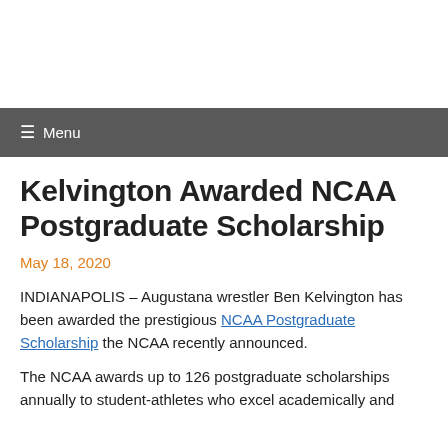Menu
Kelvington Awarded NCAA Postgraduate Scholarship
May 18, 2020
INDIANAPOLIS – Augustana wrestler Ben Kelvington has been awarded the prestigious NCAA Postgraduate Scholarship the NCAA recently announced.
The NCAA awards up to 126 postgraduate scholarships annually to student-athletes who excel academically and